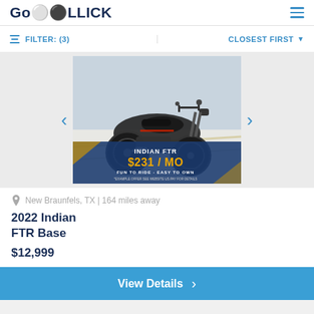GoROLLICK
FILTER: (3)  CLOSEST FIRST
[Figure (photo): Photo of a 2022 Indian FTR Base motorcycle in black, shown from the right side. Overlay text reads 'INDIAN FTR $231 / MO FUN TO RIDE - EASY TO OWN *EXAMPLE OFFER SEE WEBSITE US.PAY FOR DETAILS']
New Braunfels, TX | 164 miles away
2022 Indian
FTR Base
$12,999
View Details